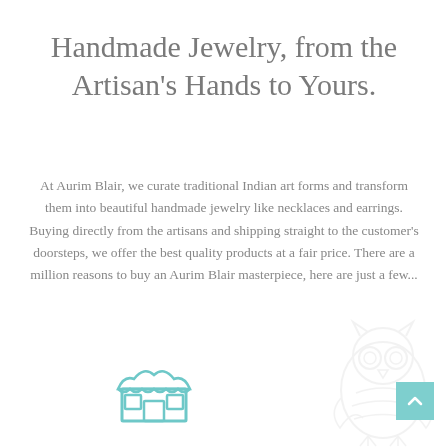Handmade Jewelry, from the Artisan's Hands to Yours.
At Aurim Blair, we curate traditional Indian art forms and transform them into beautiful handmade jewelry like necklaces and earrings. Buying directly from the artisans and shipping straight to the customer's doorsteps, we offer the best quality products at a fair price. There are a million reasons to buy an Aurim Blair masterpiece, here are just a few...
[Figure (illustration): A simple storefront / shop icon drawn in teal/cyan outline style at the bottom center of the page]
[Figure (illustration): A faint decorative owl watermark in light gray at the bottom right corner of the page]